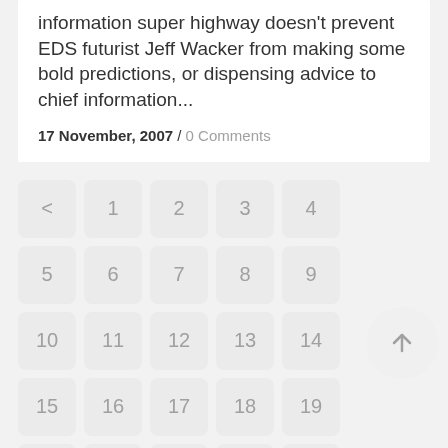information super highway doesn't prevent EDS futurist Jeff Wacker from making some bold predictions, or dispensing advice to chief information...
17 November, 2007 / 0 Comments
[Figure (other): Pagination widget with numbered buttons arranged in a 5-column grid: < 1 2 3 4 / 5 6 7 8 9 / 10 11 12 13 14 / 15 16 17 18 19 / 20 21 22 23 24 / 25 26 27 28 29, plus a circular scroll-to-top arrow button on the right.]